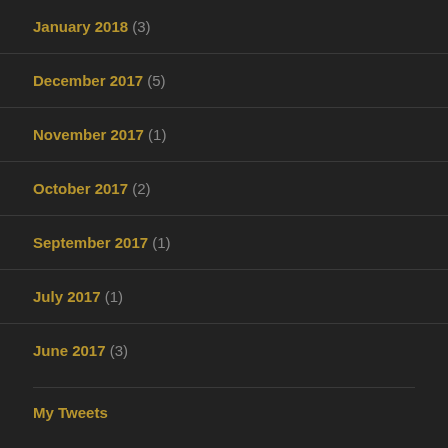January 2018 (3)
December 2017 (5)
November 2017 (1)
October 2017 (2)
September 2017 (1)
July 2017 (1)
June 2017 (3)
My Tweets